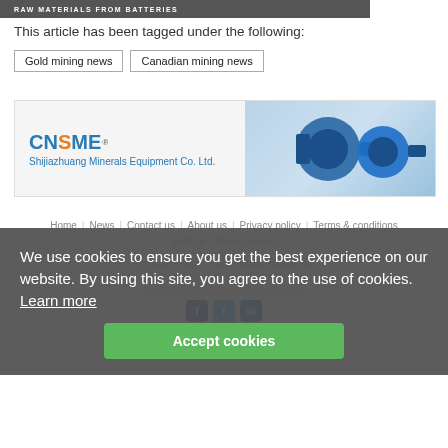[Figure (screenshot): Top banner with dark background and text 'RAW MATERIALS FROM BATTERIES']
This article has been tagged under the following:
Gold mining news
Canadian mining news
[Figure (illustration): CNSME advertisement banner for Shijiazhuang Minerals Equipment Co. Ltd. showing blue industrial pumps]
Home  News  Contact us  About us  Privacy policy  Terms & conditions
We use cookies to ensure you get the best experience on our website. By using this site, you agree to the use of cookies.  Learn more
Accept cookies